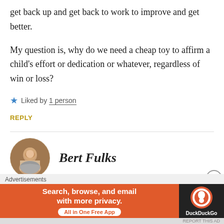get back up and get back to work to improve and get better.
My question is, why do we need a cheap toy to affirm a child's effort or dedication or whatever, regardless of win or loss?
★ Liked by 1 person
REPLY
Bert Fulks
Advertisements
[Figure (screenshot): DuckDuckGo advertisement banner: orange background with text 'Search, browse, and email with more privacy. All in One Free App' and DuckDuckGo logo on dark background]